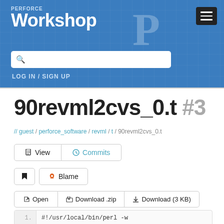[Figure (logo): Perforce Workshop logo with blue background, grid pattern, and stylized 'P' icon]
LOG IN / SIGN UP
90revml2cvs_0.t #3
// guest / perforce_software / revml / t / 90revml2cvs_0.t
View | Commits
Bookmark | Blame
Open | Download .zip | Download (3 KB)
1.  #!/usr/local/bin/perl -w
2.